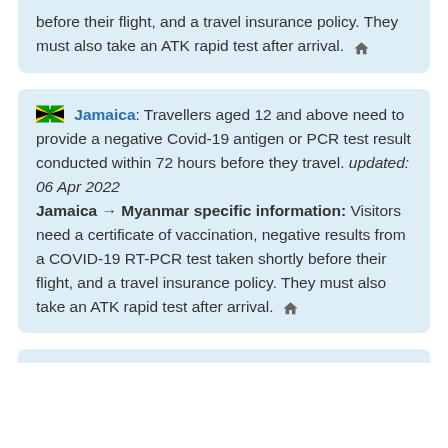before their flight, and a travel insurance policy. They must also take an ATK rapid test after arrival. 🏠
Jamaica: Travellers aged 12 and above need to provide a negative Covid-19 antigen or PCR test result conducted within 72 hours before they travel. updated: 06 Apr 2022 Jamaica → Myanmar specific information: Visitors need a certificate of vaccination, negative results from a COVID-19 RT-PCR test taken shortly before their flight, and a travel insurance policy. They must also take an ATK rapid test after arrival. 🏠